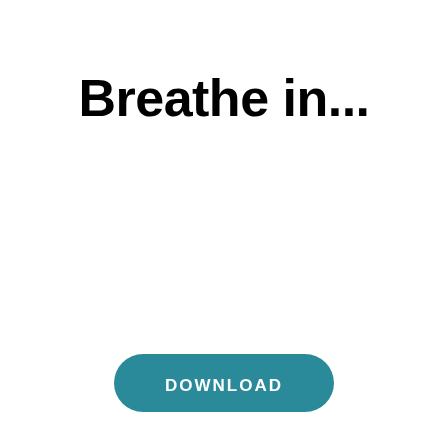Breathe in...
[Figure (other): A teal/dark cyan pill-shaped download button with white bold text reading 'DOWNLOAD']